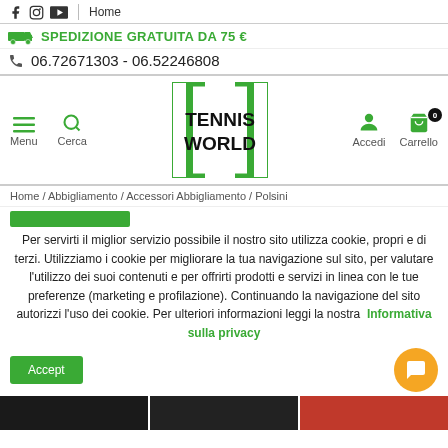f  (instagram) (youtube) | Home
SPEDIZIONE GRATUITA DA 75 €
06.72671303 - 06.52246808
[Figure (logo): Tennis World logo with green border rectangles and bold black text]
Menu  Cerca  Accedi  Carrello
Home / Abbigliamento / Accessori Abbigliamento / Polsini
Per servirti il miglior servizio possibile il nostro sito utilizza cookie, propri e di terzi. Utilizziamo i cookie per migliorare la tua navigazione sul sito, per valutare l'utilizzo dei suoi contenuti e per offrirti prodotti e servizi in linea con le tue preferenze (marketing e profilazione). Continuando la navigazione del sito autorizzi l'uso dei cookie. Per ulteriori informazioni leggi la nostra  Informativa sulla privacy
Accept